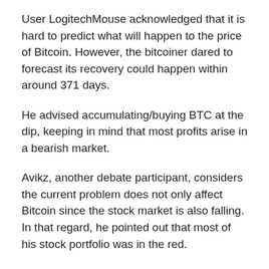User LogitechMouse acknowledged that it is hard to predict what will happen to the price of Bitcoin. However, the bitcoiner dared to forecast its recovery could happen within around 371 days.
He advised accumulating/buying BTC at the dip, keeping in mind that most profits arise in a bearish market.
Avikz, another debate participant, considers the current problem does not only affect Bitcoin since the stock market is also falling. In that regard, he pointed out that most of his stock portfolio was in the red.
He expressed that he did not care about invented theories as cryptocurrencies are here to stay with humanity. In addition, he highlighted that he is taking advantage to acquire more Bitcoin. He stated that the crypto winter usually lasts three years, but